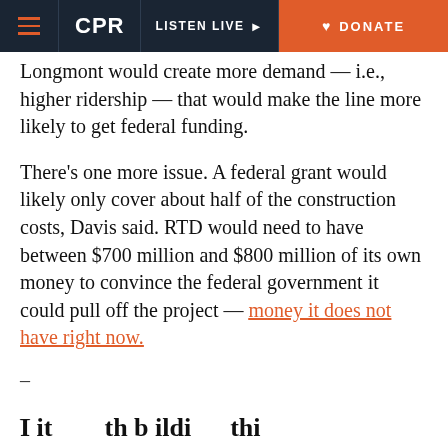CPR | LISTEN LIVE | DONATE
Longmont would create more demand — i.e., higher ridership — that would make the line more likely to get federal funding.
There's one more issue. A federal grant would likely only cover about half of the construction costs, Davis said. RTD would need to have between $700 million and $800 million of its own money to convince the federal government it could pull off the project — money it does not have right now.
–
–
I it th b ildi thi